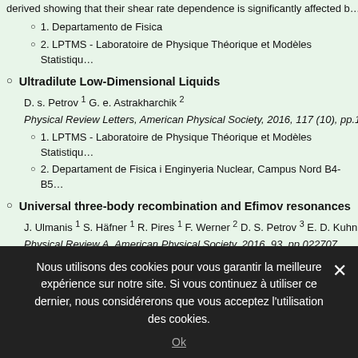derived showing that their shear rate dependence is significantly affected b…
1. Departamento de Fisica
2. LPTMS - Laboratoire de Physique Théorique et Modèles Statistiqu…
Ultradilute Low-Dimensional Liquids
D. s. Petrov 1 G. e. Astrakharchik 2
Physical Review Letters, American Physical Society, 2016, 117 (10), pp.100…
1. LPTMS - Laboratoire de Physique Théorique et Modèles Statistiqu…
2. Departament de Fisica i Enginyeria Nuclear, Campus Nord B4-B5…
Universal three-body recombination and Efimov resonances in an ultracold Li-…
J. Ulmanis 1 S. Häfner 1 R. Pires 1 F. Werner 2 D. S. Petrov 3 E. D. Kuhnle 1 M. Weidemüller …
Physical Review A, American Physical Society, 2016, 93, pp.022707
We study Efimov resonances via three-body loss in an ultracold two-comp… atoms close to a Feshbach resonance at 843~G, extending results reporte… 250404 (2014)] to temperatures around 120~nK. The experimental sc…
Nous utilisons des cookies pour vous garantir la meilleure expérience sur notre site. Si vous continuez à utiliser ce dernier, nous considérerons que vous acceptez l'utilisation des cookies.
Ok